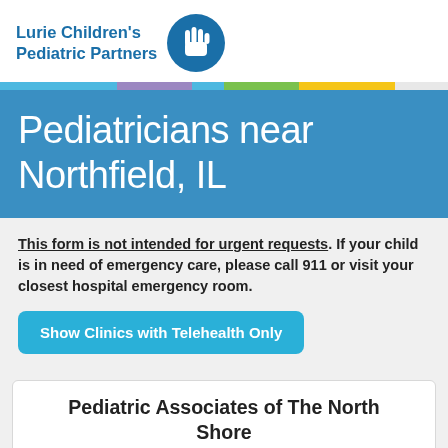[Figure (logo): Lurie Children's Pediatric Partners logo with hand icon in blue circle]
Pediatricians near Northfield, IL
This form is not intended for urgent requests. If your child is in need of emergency care, please call 911 or visit your closest hospital emergency room.
[Figure (other): Show Clinics with Telehealth Only button]
Pediatric Associates of The North Shore